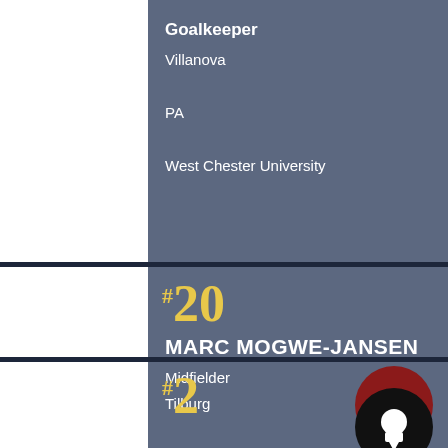Goalkeeper
Villanova
PA
West Chester University
#20
MARC MOGWE-JANSEN
Midfielder
Tilburg
Holland
#2